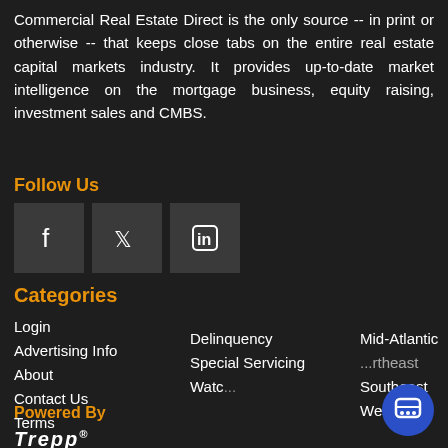Commercial Real Estate Direct is the only source -- in print or otherwise -- that keeps close tabs on the entire real estate capital markets industry. It provides up-to-date market intelligence on the mortgage business, equity raising, investment sales and CMBS.
Follow Us
[Figure (other): Social media icon buttons: Facebook, Twitter, LinkedIn]
Categories
Login
Advertising Info
About
Contact Us
Terms
Delinquency
Special Servicing
Watc...
Mid-Atlantic
Northeast
Southeast
West
[Figure (other): Trepp chat assistant popup with message: Need help? I am happy to assist.]
Powered By
Trepp®